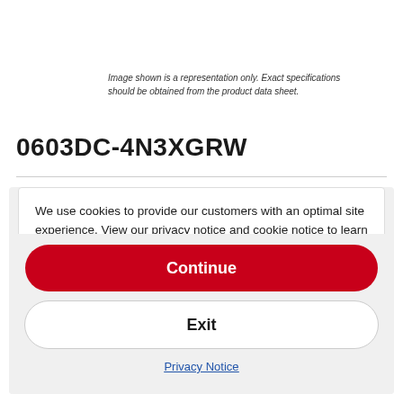Image shown is a representation only. Exact specifications should be obtained from the product data sheet.
0603DC-4N3XGRW
We use cookies to provide our customers with an optimal site experience. View our privacy notice and cookie notice to learn more about how we use cookies and how to manage your settings. By proceeding on our website you consent to the use of cookies.
Continue
Exit
Privacy Notice